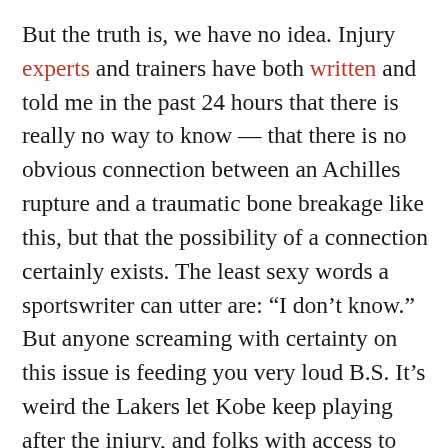But the truth is, we have no idea. Injury experts and trainers have both written and told me in the past 24 hours that there is really no way to know — that there is no obvious connection between an Achilles rupture and a traumatic bone breakage like this, but that the possibility of a connection certainly exists. The least sexy words a sportswriter can utter are: “I don’t know.” But anyone screaming with certainty on this issue is feeding you very loud B.S. It’s weird the Lakers let Kobe keep playing after the injury, and folks with access to SportVU data-tracking cameras are combing them today to check for any evidence Bryant was visibly slowing down before the injury. That’s a good step, but we still don’t know much about this stuff. It made me uncomfortable watching Kobe play the point as ball-hawks like DeMarre Carroll almost cruelly pressured him for 94 feet, but no one can say whether that kind of load